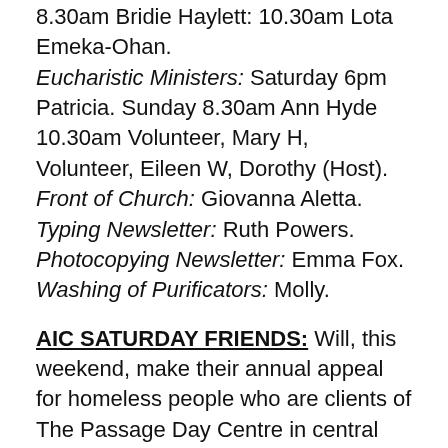8.30am Bridie Haylett. 10.30am Lota Emeka-Ohan. Eucharistic Ministers: Saturday 6pm Patricia. Sunday 8.30am Ann Hyde 10.30am Volunteer, Mary H, Volunteer, Eileen W, Dorothy (Host). Front of Church: Giovanna Aletta. Typing Newsletter: Ruth Powers. Photocopying Newsletter: Emma Fox. Washing of Purificators: Molly.
AIC SATURDAY FRIENDS: Will, this weekend, make their annual appeal for homeless people who are clients of The Passage Day Centre in central London and use our 'Saturday Friends' rehabilitation service. Your donations will be presented in the Offertory procession at Mass next Sunday. Very grateful for your ongoing generosity.
CHILDREN'S NATIVITY: Will be on Sunday 16 December at 3pm. If your child wants to take part, they need to be able to attend Mass on Sunday 9th December at 10.30am and then come there to rehearse on Sunday 16th...